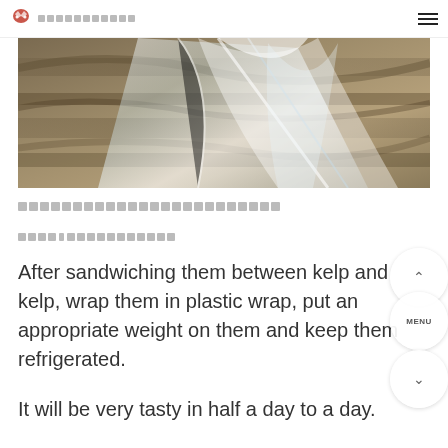[site logo] [site name in Japanese]
[Figure (photo): Close-up photo of food (appears to be fish or meat) wrapped in clear plastic wrap, viewed at an angle showing the texture and plastic covering.]
[Japanese text - step description]
[Japanese text - step 1 label]
After sandwiching them between kelp and kelp, wrap them in plastic wrap, put an appropriate weight on them and keep them refrigerated.
It will be very tasty in half a day to a day.